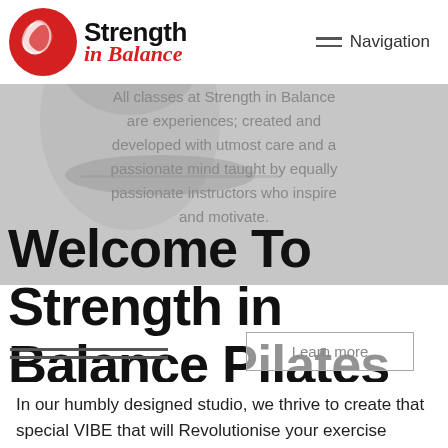[Figure (logo): Strength in Balance logo with red circle containing a figure, bold black text 'Strength' and red italic text 'in Balance']
Navigation
All classes at Strength in Balance are experiences; created and developed with utmost care and a passionate mind taught by equally passionate instructors who inspire and motivate.
Welcome To Strength in Balance Pilates
Learn more
In our humbly designed studio, we thrive to create that special VIBE that will Revolutionise your exercise routine and Transform Your Body, Mind And Soul